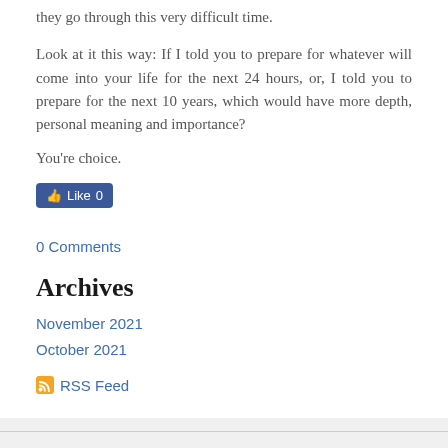they go through this very difficult time.
Look at it this way: If I told you to prepare for whatever will come into your life for the next 24 hours, or, I told you to prepare for the next 10 years, which would have more depth, personal meaning and importance?
You're choice.
[Figure (other): Facebook Like button showing 0 likes]
0 Comments
Archives
November 2021
October 2021
[Figure (other): RSS Feed icon and link]